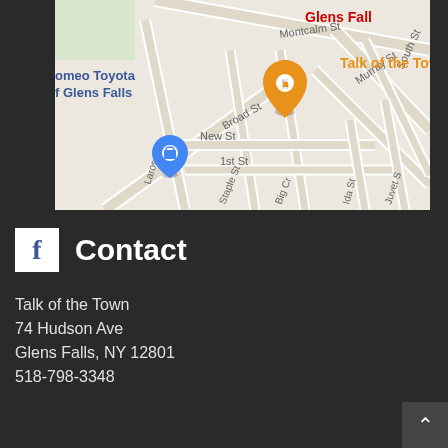[Figure (map): Google Maps screenshot showing the area around Talk of the Town restaurant at Hudson Ave in Glens Falls, NY. Shows streets including Montcalm St, Hudson Ave, Murray St, South St, Broad St, Staple St, Big Creek, New St, 1st St, Ida St, Juvet St. Labels include Talk of the Town (orange pin), romeo Toyota of Glens Falls (blue shopping pin), and Glens Falls (red text).]
Contact
Talk of the Town
74 Hudson Ave
Glens Falls, NY 12801
518-798-3348
Accepting
Visa, Mastercard, American Express